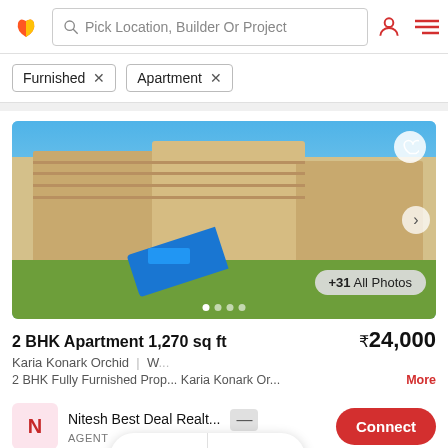Pick Location, Builder Or Project
Furnished ×
Apartment ×
[Figure (photo): Apartment building complex with playground and blue slides in foreground, multi-storey residential buildings in background]
2 BHK Apartment 1,270 sq ft  ₹24,000
Karia Konark Orchid  |  W...
2 BHK Fully Furnished Prop... Karia Konark Or...  More
Nitesh Best Deal Realt...  AGENT  Connect